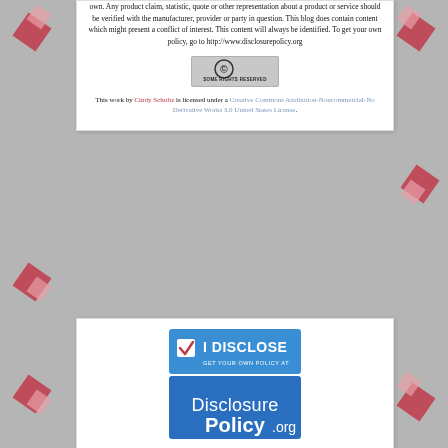own. Any product claim, statistic, quote or other representation about a product or service should be verified with the manufacturer, provider or party in question. This blog does contain content which might present a conflict of interest. This content will always be identified. To get your own policy, go to http://www.disclosurepolicy.org
[Figure (logo): Creative Commons 'Some Rights Reserved' badge]
This work by Cindy Schultz is licensed under a Creative Commons Attribution-Noncommercial-No Derivative Works 3.0 United States License.
[Figure (logo): I Disclose / DisclosurePolicy.org badge image]